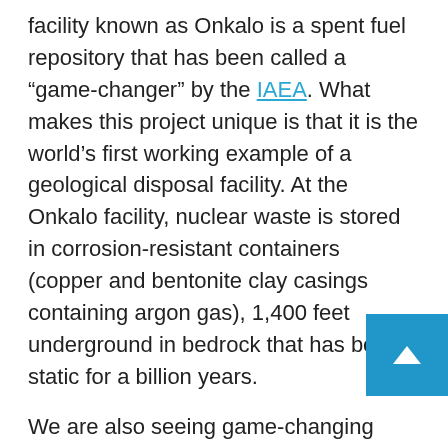facility known as Onkalo is a spent fuel repository that has been called a “game-changer” by the IAEA. What makes this project unique is that it is the world’s first working example of a geological disposal facility. At the Onkalo facility, nuclear waste is stored in corrosion-resistant containers (copper and bentonite clay casings containing argon gas), 1,400 feet underground in bedrock that has been static for a billion years.
We are also seeing game-changing approaches to the management of nuclear waste that include repurposing it as fuel. Reactors can be run on nuclear waste in a scenario that would make today’s nuclear waste tomorrow’s fuel. Fast reactors use nuclear waste as fuel and according to Jess C. Gehin of Idaho National Laboratory, the nuclear waste in the